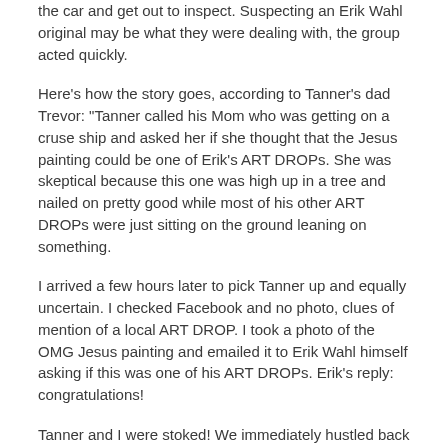the car and get out to inspect. Suspecting an Erik Wahl original may be what they were dealing with, the group acted quickly.
Here's how the story goes, according to Tanner's dad Trevor: "Tanner called his Mom who was getting on a cruse ship and asked her if she thought that the Jesus painting could be one of Erik's ART DROPs. She was skeptical because this one was high up in a tree and nailed on pretty good while most of his other ART DROPs were just sitting on the ground leaning on something.
I arrived a few hours later to pick Tanner up and equally uncertain. I checked Facebook and no photo, clues of mention of a local ART DROP. I took a photo of the OMG Jesus painting and emailed it to Erik Wahl himself asking if this was one of his ART DROPs. Erik's reply: congratulations!
Tanner and I were stoked! We immediately hustled back home to get a ladder, flashlights, and the tool kit. It was quite the adventure in the dark getting the large painting down from the tree."
...